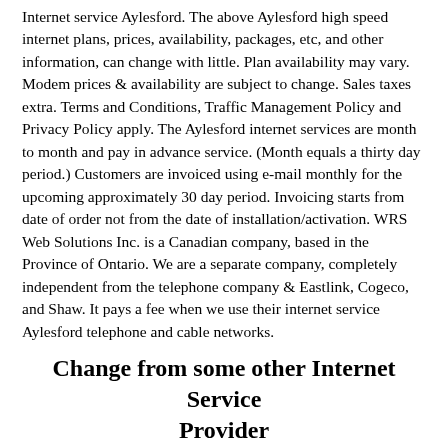Internet service Aylesford. The above Aylesford high speed internet plans, prices, availability, packages, etc, and other information, can change with little. Plan availability may vary. Modem prices & availability are subject to change. Sales taxes extra. Terms and Conditions, Traffic Management Policy and Privacy Policy apply. The Aylesford internet services are month to month and pay in advance service. (Month equals a thirty day period.) Customers are invoiced using e-mail monthly for the upcoming approximately 30 day period. Invoicing starts from date of order not from the date of installation/activation. WRS Web Solutions Inc. is a Canadian company, based in the Province of Ontario. We are a separate company, completely independent from the telephone company & Eastlink, Cogeco, and Shaw. It pays a fee when we use their internet service Aylesford telephone and cable networks.
Change from some other Internet Service Provider
Switch internet service provider in Aylesford. Want to switch high speed phone internet service providers in Aylesford to our cheap Aylesford high speed internet plans Compare our cheap Aylesford high speed phone internet packages? These value priced Aylesford phone internet package options are yours to pick from. Curious if